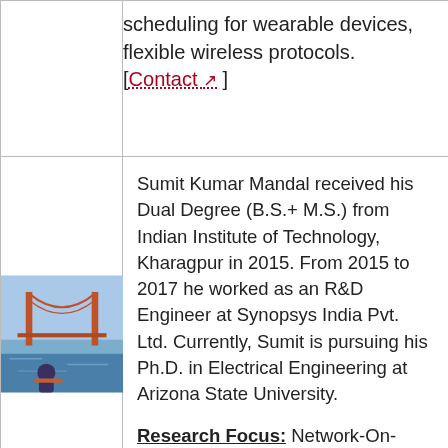scheduling for wearable devices, flexible wireless protocols. [Contact ]
[Figure (photo): Photo of Sumit Kumar Mandal, a man standing in front of the Golden Gate Bridge on a clear day.]
Sumit Kumar Mandal received his Dual Degree (B.S.+ M.S.) from Indian Institute of Technology, Kharagpur in 2015. From 2015 to 2017 he worked as an R&D Engineer at Synopsys India Pvt. Ltd. Currently, Sumit is pursuing his Ph.D. in Electrical Engineering at Arizona State University.
Research Focus: Network-On-Chip (NoC) architectures, energy-efficient machine learning